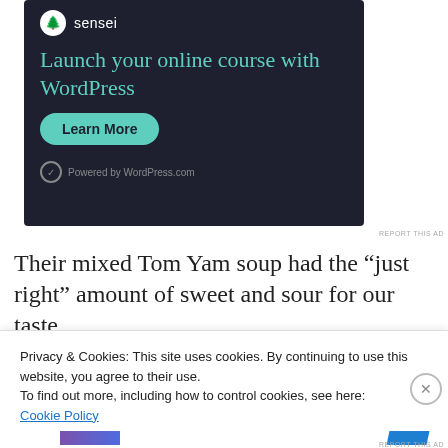[Figure (screenshot): Sensei advertisement banner on dark navy background. Shows sensei logo (tree icon in white circle), headline 'Launch your online course with WordPress' in teal, a 'Learn More' teal button, and 'Powered by WordPress.com' footer text in grey.]
REPORT THIS AD
Their mixed Tom Yam soup had the “just right” amount of sweet and sour for our taste
Privacy & Cookies: This site uses cookies. By continuing to use this website, you agree to their use.
To find out more, including how to control cookies, see here:
Cookie Policy
Close and accept